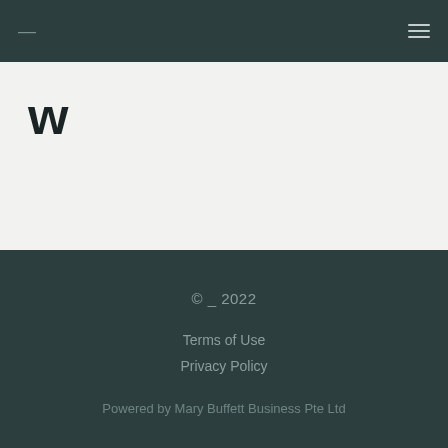— [menu icon]
W
© _ 2022
Terms of Use
Privacy Policy
Powered by Mary Buffett Business Pte Ltd